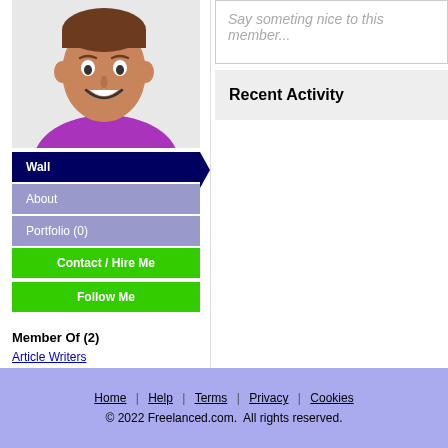[Figure (illustration): Cartoon avatar of a smiling man with brown hair wearing a purple shirt, shown from chest up against a light gray background]
Wall
About
Portfolio (0)
Contact / Hire Me
Follow Me
Member Of (2)
Article Writers
Book Writers
Say someting nice to this member...
Recent Activity
Home | Help | Terms | Privacy | Cookies
© 2022 Freelanced.com.  All rights reserved.